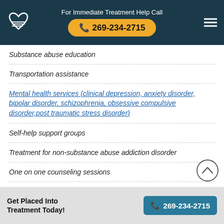For Immediate Treatment Help Call 269-234-2715
Substance abuse education
Transportation assistance
Mental health services (clinical depression, anxiety disorder, bipolar disorder, schizophrenia, obsessive compulsive disorder, post traumatic stress disorder)
Self-help support groups
Treatment for non-substance abuse addiction disorder
One on one counseling sessions
Get Placed Into Treatment Today! 269-234-2715